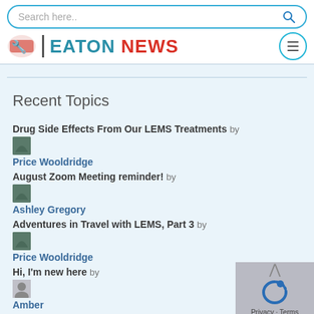Search here.. | EATON NEWS
Recent Topics
Drug Side Effects From Our LEMS Treatments by Price Wooldridge
August Zoom Meeting reminder! by Ashley Gregory
Adventures in Travel with LEMS, Part 3 by Price Wooldridge
Hi, I'm new here by Amber
My New Neurologist by